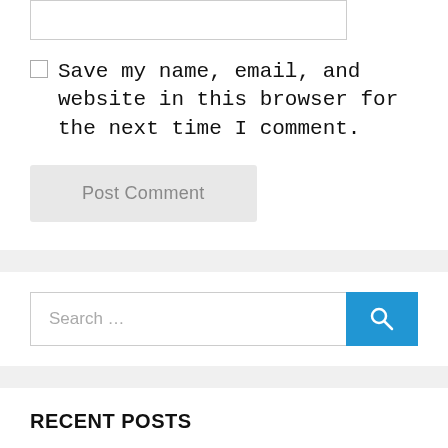[Figure (screenshot): A textarea input box (white rectangle with border)]
[Figure (screenshot): A checkbox (unchecked)]
Save my name, email, and website in this browser for the next time I comment.
[Figure (screenshot): Post Comment button]
[Figure (screenshot): Search bar with text 'Search ...' and a blue search button with magnifying glass icon]
RECENT POSTS
Antimalware service executable High disk usage windows 10 [Solved]